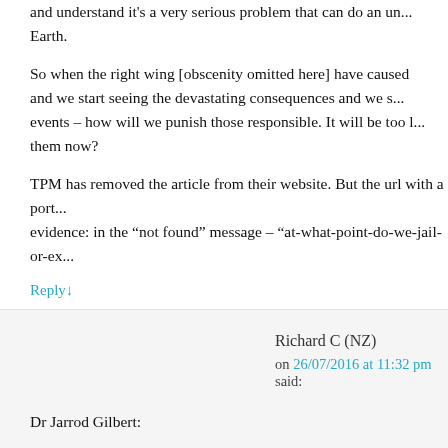and understand it's a very serious problem that can do an un... Earth.
So when the right wing [obscenity omitted here] have caused and we start seeing the devastating consequences and we s... events – how will we punish those responsible. It will be too l... them now?
TPM has removed the article from their website. But the url with a port... evidence: in the “not found” message – “at-what-point-do-we-jail-or-ex...
Reply↓
Richard C (NZ)
on 26/07/2016 at 11:32 pm said:
Dr Jarrod Gilbert:
Why climate denial should be a criminal offence
““Since the 1960s, it has been known that heat-trapping gas...